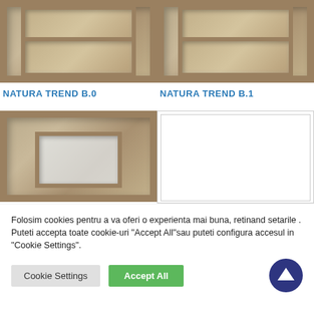[Figure (photo): Photo of a wooden door panel - NATURA TREND B.0, top portion visible with two recessed panels]
[Figure (photo): Photo of a wooden door panel - NATURA TREND B.1, top portion visible with two recessed panels]
NATURA TREND B.0
NATURA TREND B.1
[Figure (photo): Photo of a wooden door with glass panel insert - bottom row left]
[Figure (photo): White/blank door image placeholder - bottom row right]
Folosim cookies pentru a va oferi o experienta mai buna, retinand setarile . Puteti accepta toate cookie-uri "Accept All"sau puteti configura accesul in "Cookie Settings".
Cookie Settings
Accept All